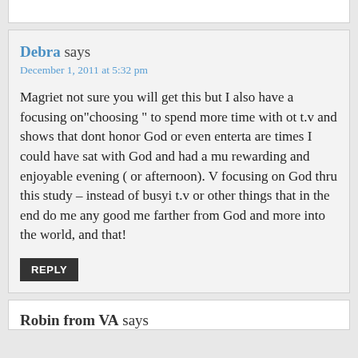Debra says
December 1, 2011 at 5:32 pm
Magriet not sure you will get this but I also have a focusing on"choosing " to spend more time with ot t.v and shows that dont honor God or even enterta are times I could have sat with God and had a mu rewarding and enjoyable evening ( or afternoon). V focusing on God thru this study – instead of busyi t.v or other things that in the end do me any good me farther from God and more into the world, and that!
REPLY
Robin from VA says